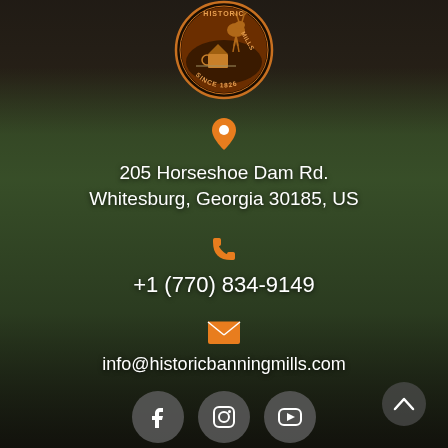[Figure (logo): Historic Banning Mills circular logo with deer, mill house, and text 'SINCE 1826']
205 Horseshoe Dam Rd.
Whitesburg, Georgia 30185, US
+1 (770) 834-9149
info@historicbanningmills.com
[Figure (infographic): Social media icons: Facebook, Instagram, YouTube]